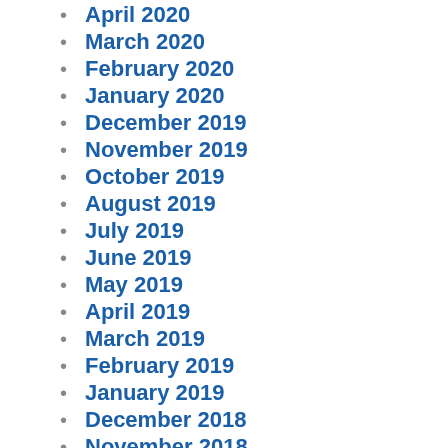April 2020
March 2020
February 2020
January 2020
December 2019
November 2019
October 2019
August 2019
July 2019
June 2019
May 2019
April 2019
March 2019
February 2019
January 2019
December 2018
November 2018